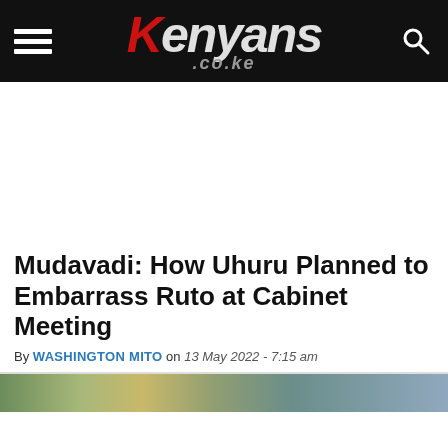Kenyans.co.ke
Mudavadi: How Uhuru Planned to Embarrass Ruto at Cabinet Meeting
By WASHINGTON MITO on 13 May 2022 - 7:15 am
[Figure (photo): Partial view of a photo at the bottom of the page, appears to show an outdoor scene]